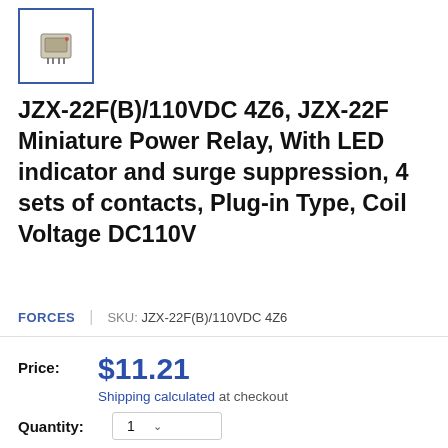[Figure (photo): Small thumbnail image of a relay component in a white box with blue border]
JZX-22F(B)/110VDC 4Z6, JZX-22F Miniature Power Relay, With LED indicator and surge suppression, 4 sets of contacts, Plug-in Type, Coil Voltage DC110V
FORCES  |  SKU: JZX-22F(B)/110VDC 4Z6
Price: $11.21
Shipping calculated at checkout
Quantity: 1